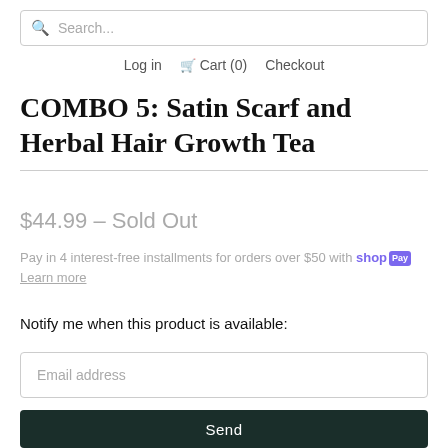Search...
Log in  Cart (0)  Checkout
COMBO 5: Satin Scarf and Herbal Hair Growth Tea
$44.99 – Sold Out
Pay in 4 interest-free installments for orders over $50 with shopPay Learn more
Notify me when this product is available:
Email address
Send